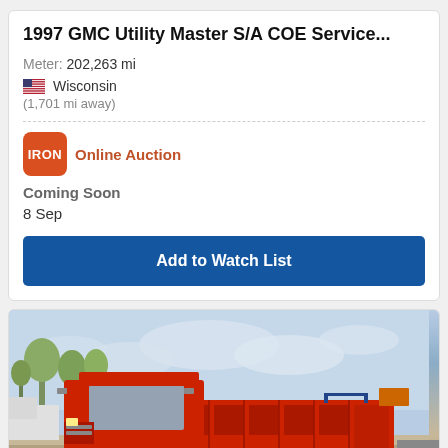1997 GMC Utility Master S/A COE Service...
Meter: 202,263 mi
Wisconsin
(1,701 mi away)
Online Auction
Coming Soon
8 Sep
Add to Watch List
[Figure (photo): Red 1997 GMC Utility Master S/A COE service truck parked in a lot with trees and cloudy sky in the background]